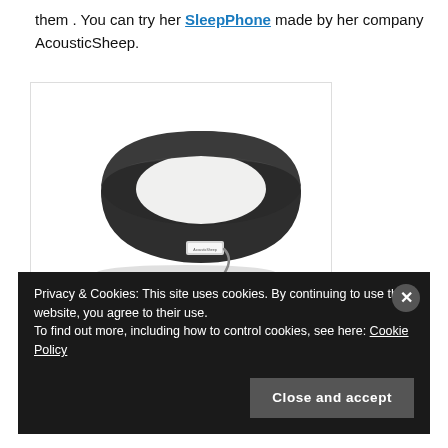them. You can try her SleepPhone made by her company AcousticSheep.
[Figure (photo): A black fabric SleepPhone headband with a small logo label and a 3.5mm audio jack cable hanging from it, photographed on a white background.]
Privacy & Cookies: This site uses cookies. By continuing to use this website, you agree to their use. To find out more, including how to control cookies, see here: Cookie Policy
Close and accept